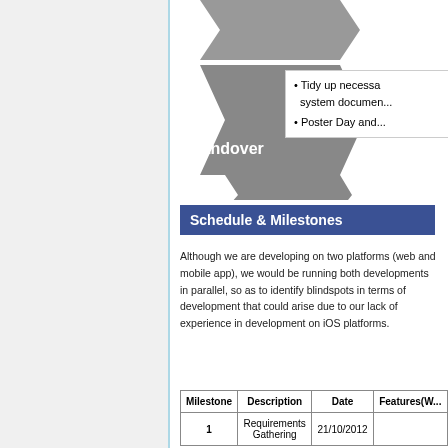[Figure (flowchart): Chevron/arrow shape labeled 'Handover' in gray, with a bullet list partially visible showing 'Tidy up necessary system documen...' and 'Poster Day and...']
Tidy up necessary system documentation
Poster Day and...
Schedule & Milestones
Although we are developing on two platforms (web and mobile app), we would be running both developments in parallel, so as to identify blindspots in terms of development that could arise due to our lack of experience in development on iOS platforms.
| Milestone | Description | Date | Features(W... |
| --- | --- | --- | --- |
| 1 | Requirements Gathering | 21/10/2012 |  |